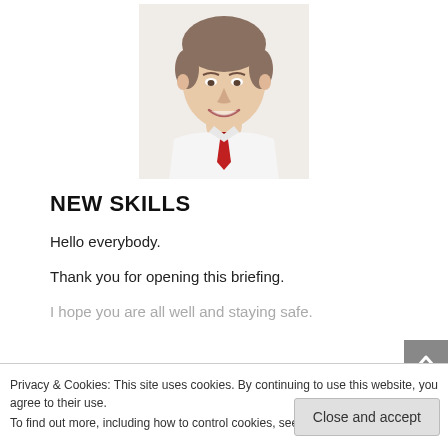[Figure (photo): Headshot of a middle-aged man with grey-brown hair, wearing a white shirt and red patterned tie, smiling at camera against a white background.]
NEW SKILLS
Hello everybody.
Thank you for opening this briefing.
I hope you are all well and staying safe.
long learning and being in a passion to
knowledge on to others.
Privacy & Cookies: This site uses cookies. By continuing to use this website, you agree to their use.
To find out more, including how to control cookies, see here: Cookie Policy
Close and accept